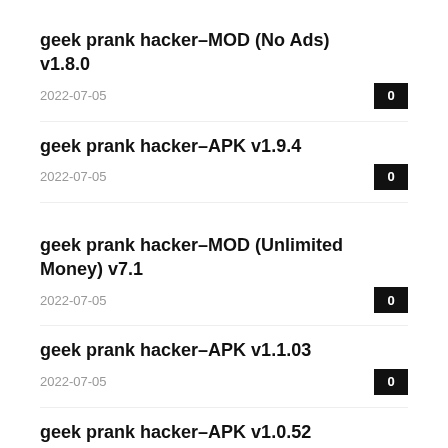geek prank hacker–MOD (No Ads) v1.8.0
2022-07-05
0
geek prank hacker–APK v1.9.4
2022-07-05
0
geek prank hacker–MOD (Unlimited Money) v7.1
2022-07-05
0
geek prank hacker–APK v1.1.03
2022-07-05
0
geek prank hacker–APK v1.0.52